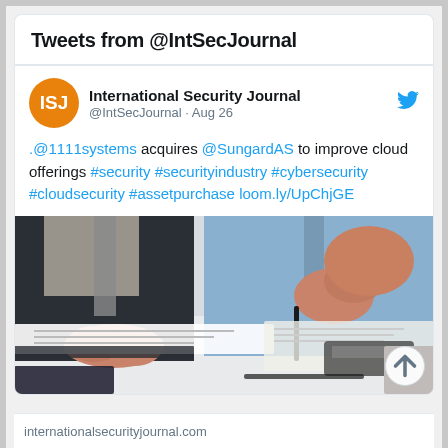Tweets from @IntSecJournal
International Security Journal @IntSecJournal · Aug 26
.@1111systems acquires @SungardAS to improve cloud offerings #security #securityindustry #cybersecurity #cloudsecurity #assetpurchase loom.ly/UpChjGE
[Figure (photo): Two business professionals at a table with documents and a calculator, one signing papers]
internationalsecurityjournal.com